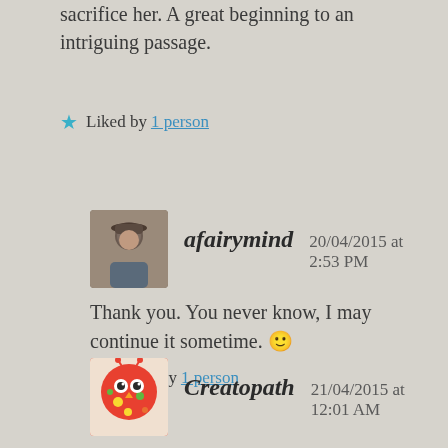sacrifice her. A great beginning to an intriguing passage.
★ Liked by 1 person
afairymind   20/04/2015 at 2:53 PM
Thank you. You never know, I may continue it sometime. 🙂
★ Liked by 1 person
Creatopath   21/04/2015 at 12:01 AM